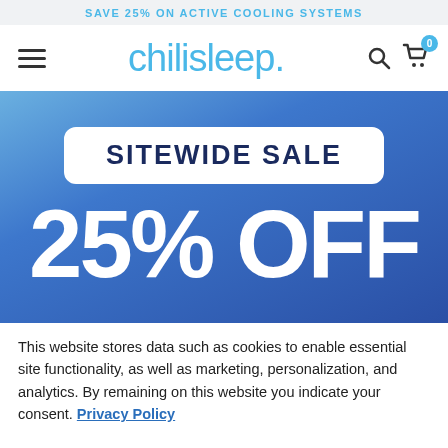SAVE 25% ON ACTIVE COOLING SYSTEMS
[Figure (logo): Chilisleep brand logo with hamburger menu, search icon, and cart icon with badge 0]
[Figure (infographic): Blue gradient hero banner with SITEWIDE SALE in white rounded box and 25% OFF in large white text]
This website stores data such as cookies to enable essential site functionality, as well as marketing, personalization, and analytics. By remaining on this website you indicate your consent. Privacy Policy